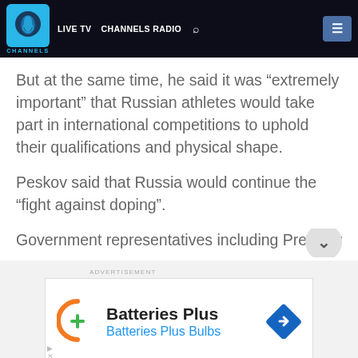CHANNELS | LIVE TV  CHANNELS RADIO
But at the same time, he said it was “extremely important” that Russian athletes would take part in international competitions to uphold their qualifications and physical shape.
Peskov said that Russia would continue the “fight against doping”.
Government representatives including Presiden…
ADVERTISEMENT
[Figure (screenshot): Batteries Plus advertisement banner showing orange logo with green plus sign, text 'Batteries Plus' in bold black and 'Batteries Plus Bulbs' in blue, with a blue diamond arrow icon on the right.]